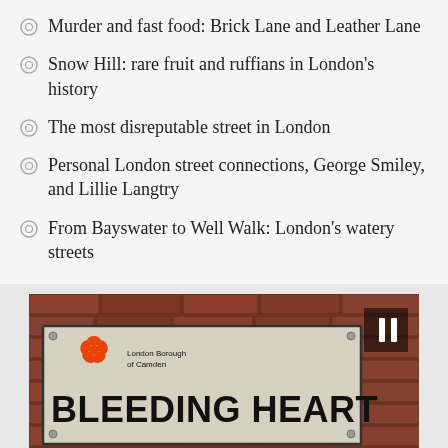Murder and fast food: Brick Lane and Leather Lane
Snow Hill: rare fruit and ruffians in London's history
The most disreputable street in London
Personal London street connections, George Smiley, and Lillie Langtry
From Bayswater to Well Walk: London's watery streets
[Figure (photo): Photo of a London Borough of Camden street sign reading 'BLEEDING HEART' mounted on a red brick wall, with a pause button overlay in the top right corner]